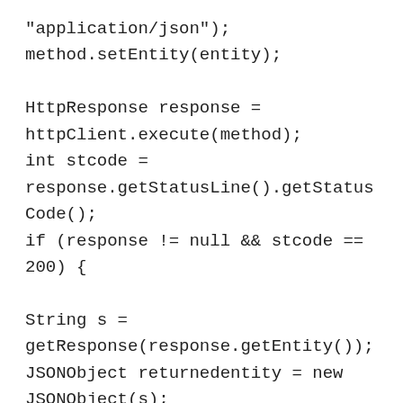"application/json");
method.setEntity(entity);

HttpResponse response =
httpClient.execute(method);
int stcode =
response.getStatusLine().getStatusCode();
if (response != null && stcode == 200) {

String s = getResponse(response.getEntity());
JSONObject returnedentity = new
JSONObject(s);
return returnedentity;
} else if (stcode == 404) {
throw new
Exception(getError(response.getEntity()));
} else {